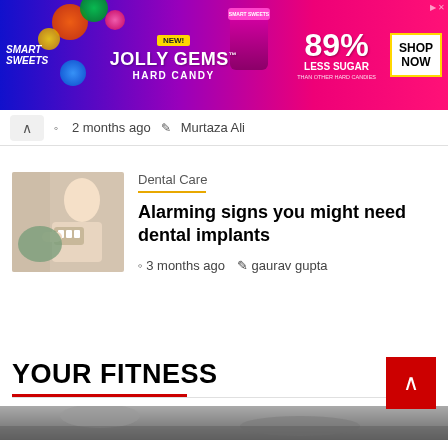[Figure (photo): SmartSweets Jolly Gems Hard Candy advertisement banner. Blue/pink/magenta gradient background with candy images. Text: SMART SWEETS, NEW!, JOLLY GEMS™ HARD CANDY, 89% LESS SUGAR THAN OTHER HARD CANDIES, SHOP NOW button.]
2 months ago  Murtaza Ali
[Figure (photo): Thumbnail image showing a person holding a dental model, related to dental care article about implants.]
Dental Care
Alarming signs you might need dental implants
3 months ago  gaurav gupta
YOUR FITNESS
[Figure (photo): Partial image at bottom of page, appears to be a fitness-related photo.]